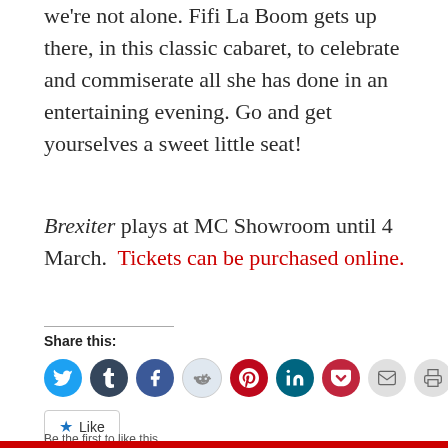we're not alone. Fifi La Boom gets up there, in this classic cabaret, to celebrate and commiserate all she has done in an entertaining evening. Go and get yourselves a sweet little seat!
Brexiter plays at MC Showroom until 4 March. Tickets can be purchased online.
Share this:
[Figure (infographic): Row of social media share icons: Twitter (blue), Tumblr (dark blue), Facebook (blue), Reddit (light blue/grey), Pinterest (red), LinkedIn (teal), Pocket (red), Email (grey), Print (grey)]
Like
Be the first to like this.